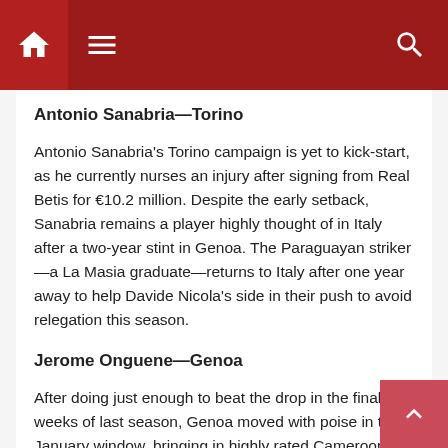Navigation bar with home, menu, and search icons
Antonio Sanabria—Torino
Antonio Sanabria's Torino campaign is yet to kick-start, as he currently nurses an injury after signing from Real Betis for €10.2 million. Despite the early setback, Sanabria remains a player highly thought of in Italy after a two-year stint in Genoa. The Paraguayan striker—a La Masia graduate—returns to Italy after one year away to help Davide Nicola's side in their push to avoid relegation this season.
Jerome Onguene—Genoa
After doing just enough to beat the drop in the final weeks of last season, Genoa moved with poise in this January window, bringing in highly rated Cameroon defender